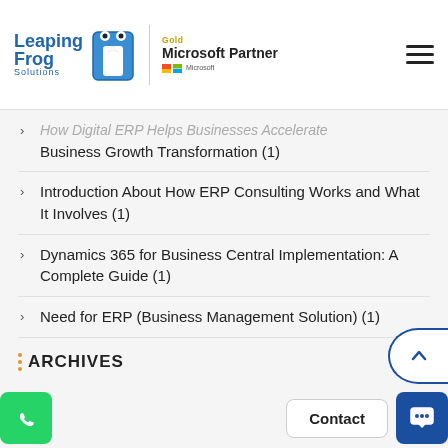Leaping Frog Solutions | Gold Microsoft Partner
How Digital ERP Helps Businesses Accelerate Business Growth Transformation (1)
Introduction About How ERP Consulting Works and What It Involves (1)
Dynamics 365 for Business Central Implementation: A Complete Guide (1)
Need for ERP (Business Management Solution) (1)
ARCHIVES
2022 (7)
2021 (11)
2020 (9)
2019 (8)
2018 (3)
2016 (2)